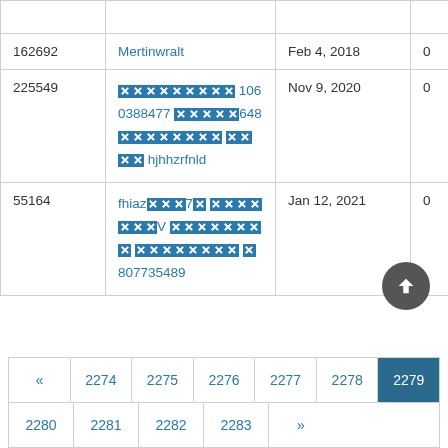| ID | Username | Date | Col4 | Col5 |
| --- | --- | --- | --- | --- |
| 162692 | Mertinwralt | Feb 4, 2018 | 0 | 0 |
| 225549 | [redacted] 1060388477 [redacted]648 [redacted] [redacted] hjhhzrfnld | Nov 9, 2020 | 0 | 0 |
| 55164 | fhiaz[redacted]7[redacted] [redacted]V [redacted] [redacted] [redacted]807735489 | Jan 12, 2021 | 0 | 0 |
Pagination: « 2274 2275 2276 2277 2278 2279 (active) 2280 2281 2282 2283 »